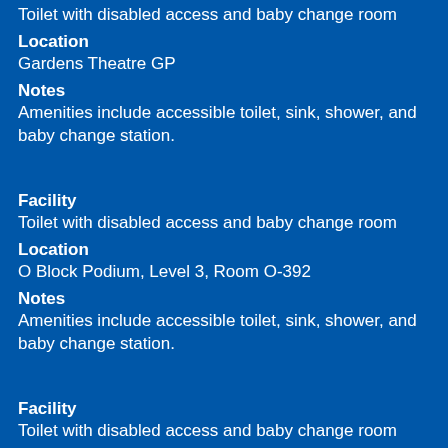Toilet with disabled access and baby change room
Location
Gardens Theatre GP
Notes
Amenities include accessible toilet, sink, shower, and baby change station.
Facility
Toilet with disabled access and baby change room
Location
O Block Podium, Level 3, Room O-392
Notes
Amenities include accessible toilet, sink, shower, and baby change station.
Facility
Toilet with disabled access and baby change room
Location
O Block Podium, Level 4, Room O-492